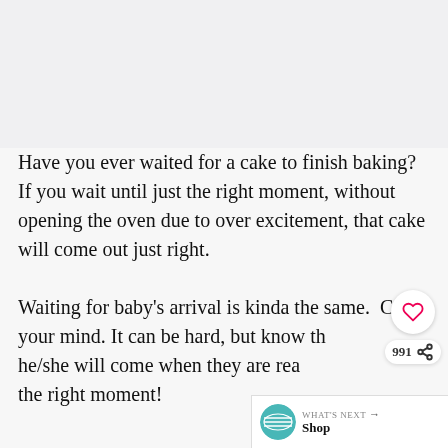[Figure (photo): Light gray image placeholder area at the top of the page]
Have you ever waited for a cake to finish baking? If you wait until just the right moment, without opening the oven due to over excitement, that cake will come out just right.

Waiting for baby's arrival is kinda the same. Calm your mind. It can be hard, but know that he/she will come when they are ready, at just the right moment!